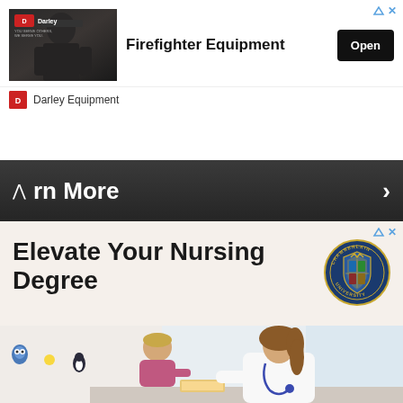[Figure (screenshot): Darley Equipment ad banner showing firefighter in background, with Darley logo, text 'Firefighter Equipment', and 'Open' button]
Darley Equipment
[Figure (screenshot): Dark banner strip with upward chevron, partial text 'rn More', and right chevron arrow]
[Figure (screenshot): Chamberlain University ad with text 'Elevate Your Nursing Degree', university circular badge logo, and photo of nurse/doctor examining a child]
Elevate Your Nursing Degree